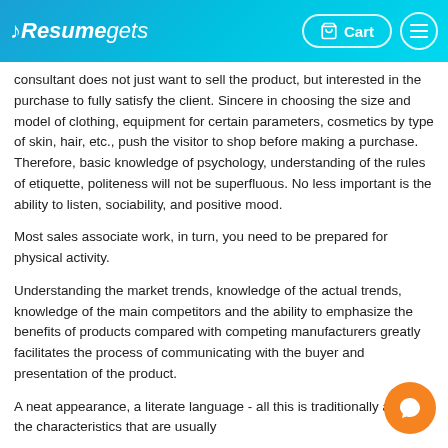Resumegets  Cart
consultant does not just want to sell the product, but interested in the purchase to fully satisfy the client. Sincere in choosing the size and model of clothing, equipment for certain parameters, cosmetics by type of skin, hair, etc., push the visitor to shop before making a purchase. Therefore, basic knowledge of psychology, understanding of the rules of etiquette, politeness will not be superfluous. No less important is the ability to listen, sociability, and positive mood.
Most sales associate work, in turn, you need to be prepared for physical activity.
Understanding the market trends, knowledge of the actual trends, knowledge of the main competitors and the ability to emphasize the benefits of products compared with competing manufacturers greatly facilitates the process of communicating with the buyer and presentation of the product.
A neat appearance, a literate language - all this is traditionally among the characteristics that are usually